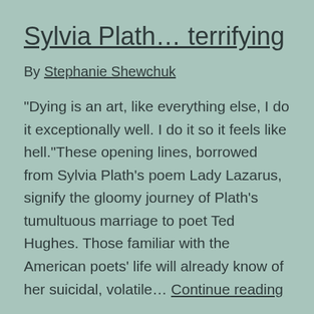Sylvia Plath… terrifying
By Stephanie Shewchuk
“Dying is an art, like everything else, I do it exceptionally well. I do it so it feels like hell.”These opening lines, borrowed from Sylvia Plath’s poem Lady Lazarus, signify the gloomy journey of Plath’s tumultuous marriage to poet Ted Hughes. Those familiar with the American poets’ life will already know of her suicidal, volatile… Continue reading